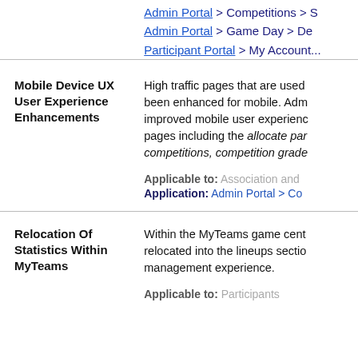Admin Portal > Competitions > ...
Admin Portal > Game Day > De...
Participant Portal > My Account...
Mobile Device UX User Experience Enhancements
High traffic pages that are used... been enhanced for mobile. Adm... improved mobile user experienc... pages including the allocate par... competitions, competition grade...
Applicable to: Association and...
Application: Admin Portal > Co...
Relocation Of Statistics Within MyTeams
Within the MyTeams game cent... relocated into the lineups sectio... management experience.
Applicable to: Participants